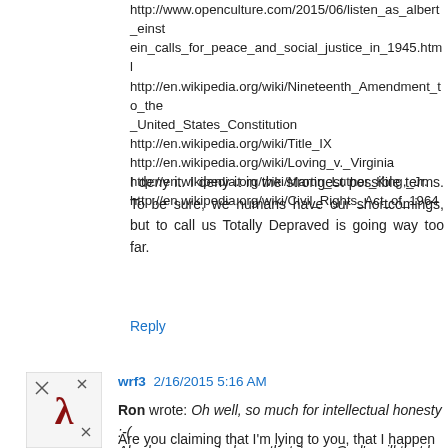http://www.openculture.com/2015/06/listen_as_albert_einstein_calls_for_peace_and_social_justice_in_1945.html
http://en.wikipedia.org/wiki/Nineteenth_Amendment_to_the_United_States_Constitution
http://en.wikipedia.org/wiki/Title_IX
http://en.wikipedia.org/wiki/Loving_v._Virginia
http://en.wikipedia.org/wiki/Martin_Luther_King,_Jr.
http://en.wikipedia.org/wiki/Civil_Rights_Act_of_1964
I deny it. I deny it in the strongest possible terms. To be sure, we humans have our shortcomings, but to call us Totally Depraved is going way too far.
Reply
[Figure (illustration): Avatar icon for user wrf3 — a stylized red lambda symbol with decorative marks on a white background]
wrf3  2/16/2015 5:16 AM
Ron wrote: Oh well, so much for intellectual honesty :-(
Are you claiming that I'm lying to you, that I happen to be mistaken in my reasoning, both, something else?
Abraham came to know that it was God's will that he kill